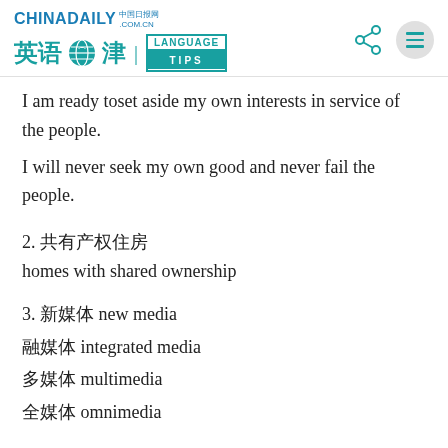CHINADAILY 中国日报网 .COM.CN — 英语点津 | LANGUAGE TIPS
I am ready toset aside my own interests in service of the people.
I will never seek my own good and never fail the people.
2. 共有产权住房 homes with shared ownership
3. 新媒体 new media
融媒体 integrated media
多媒体 multimedia
全媒体 omnimedia